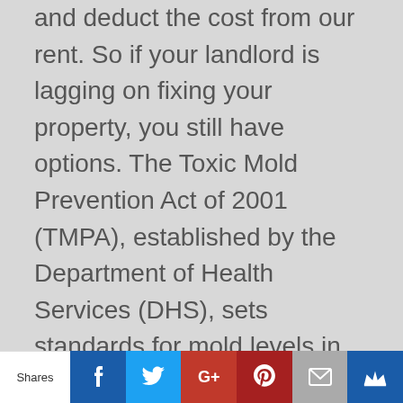and deduct the cost from our rent. So if your landlord is lagging on fixing your property, you still have options. The Toxic Mold Prevention Act of 2001 (TMPA), established by the Department of Health Services (DHS), sets standards for mold levels in indoor air. The law also allows DHS to identify remediation standards for owners, contractors and landlords. Mold growth is classified as a factor of inhabitable conditions and is required, by
Shares | Facebook | Twitter | Google+ | Pinterest | Email | Crown